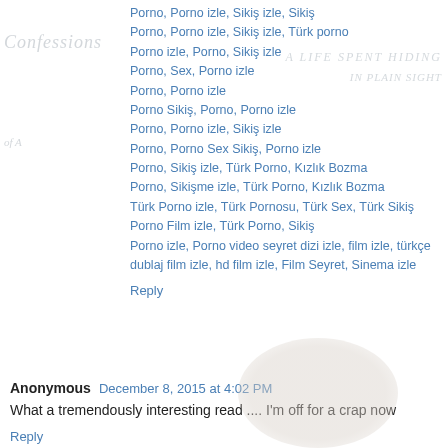Porno, Porno izle, Sikiş izle, Sikiş
Porno, Porno izle, Sikiş izle, Türk porno
Porno izle, Porno, Sikiş izle
Porno, Sex, Porno izle
Porno, Porno izle
Porno Sikiş, Porno, Porno izle
Porno, Porno izle, Sikiş izle
Porno, Porno Sex Sikiş, Porno izle
Porno, Sikiş izle, Türk Porno, Kızlık Bozma
Porno, Sikişme izle, Türk Porno, Kızlık Bozma
Türk Porno izle, Türk Pornosu, Türk Sex, Türk Sikiş
Porno Film izle, Türk Porno, Sikiş
Porno izle, Porno video seyret dizi izle, film izle, türkçe dublaj film izle, hd film izle, Film Seyret, Sinema izle
Reply
Anonymous  December 8, 2015 at 4:02 PM
What a tremendously interesting read .... I'm off for a crap now
Reply